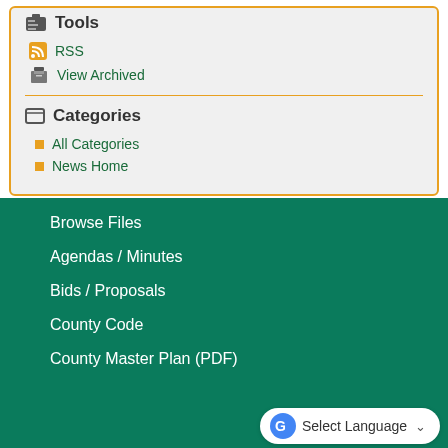Tools
RSS
View Archived
Categories
All Categories
News Home
Browse Files
Agendas / Minutes
Bids / Proposals
County Code
County Master Plan (PDF)